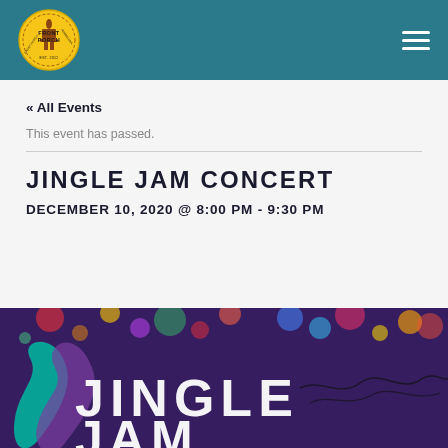The Front Porch — navigation header with logo and hamburger menu
« All Events
This event has passed.
JINGLE JAM CONCERT
DECEMBER 10, 2020 @ 8:00 PM - 9:30 PM
[Figure (photo): Event promotional image for Jingle Jam concert with colorful Christmas lights bokeh background and large white text 'JINGLE' and partial 'JAM' text, with teal/purple graphic element on left]